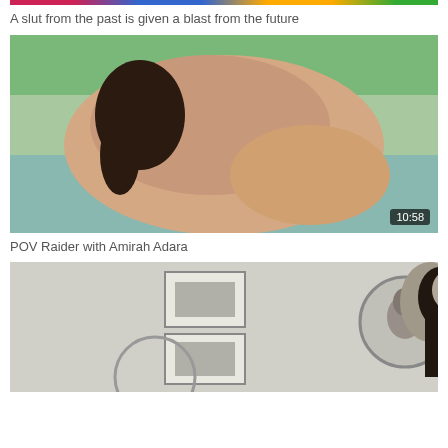[Figure (photo): Colorful top strip visible at very top of page]
A slut from the past is given a blast from the future
[Figure (photo): Video thumbnail showing a woman in a tent scene, with duration badge 10:58]
POV Raider with Amirah Adara
[Figure (photo): Black and white photo of a woman with long dark hair, standing in a room with framed pictures and mirrors]